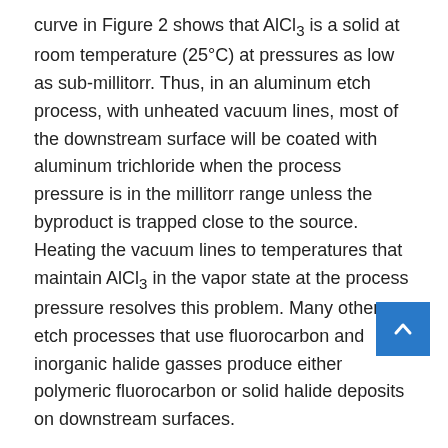curve in Figure 2 shows that AlCl₃ is a solid at room temperature (25°C) at pressures as low as sub-millitorr. Thus, in an aluminum etch process, with unheated vacuum lines, most of the downstream surface will be coated with aluminum trichloride when the process pressure is in the millitorr range unless the byproduct is trapped close to the source. Heating the vacuum lines to temperatures that maintain AlCl₃ in the vapor state at the process pressure resolves this problem. Many other etch processes that use fluorocarbon and inorganic halide gasses produce either polymeric fluorocarbon or solid halide deposits on downstream surfaces.

Downstream of the vacuum pumping system, the process exhaust is fed to a centralized exhaust treatment facility in most semiconductor fabs. These facilities are generally described as exhaust "scrubbers". Typically, fabs employ more than one such unit, differentiated by the type of exhaust stream that the unit must treat. "Acid" gases such